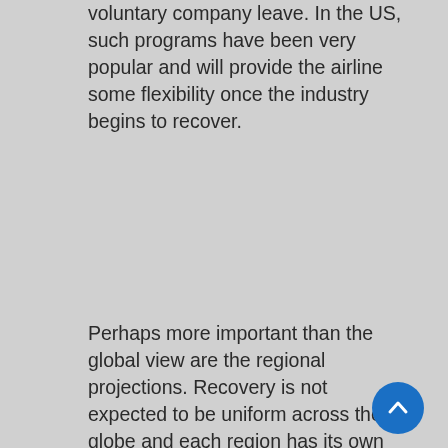voluntary company leave. In the US, such programs have been very popular and will provide the airline some flexibility once the industry begins to recover.
Perhaps more important than the global view are the regional projections. Recovery is not expected to be uniform across the globe and each region has its own demographic considerations. In our analysis, North American, Asia Pacific, and the Middle East are likely to see the largest shortages while Europe, Africa, and Latin America remain closer to equilibrium. In North America, with an aging pilot population and heavy use early retirements, the shortage